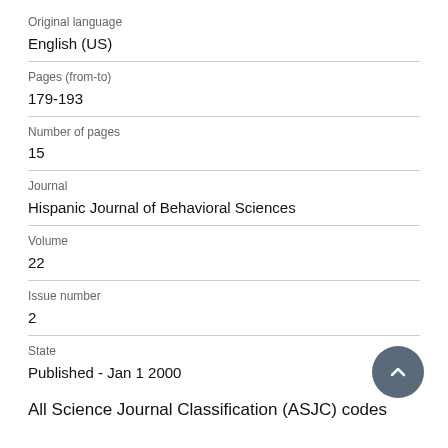Original language
English (US)
Pages (from-to)
179-193
Number of pages
15
Journal
Hispanic Journal of Behavioral Sciences
Volume
22
Issue number
2
State
Published - Jan 1 2000
All Science Journal Classification (ASJC) codes